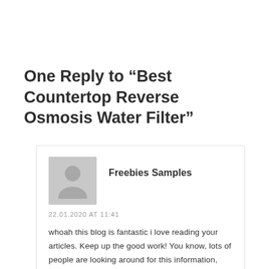One Reply to “Best Countertop Reverse Osmosis Water Filter”
[Figure (illustration): Gray placeholder avatar icon showing a generic person silhouette]
Freebies Samples
22.01.2020 AT 11:41
whoah this blog is fantastic i love reading your articles. Keep up the good work! You know, lots of people are looking around for this information, you can help them greatly.